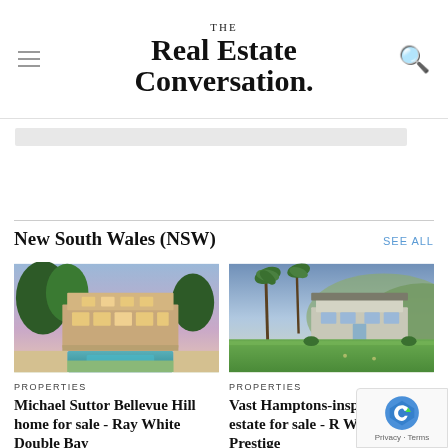THE Real Estate Conversation.
[Figure (other): Advertisement/banner image placeholder bar]
New South Wales (NSW)
SEE ALL
[Figure (photo): Aerial/evening view of a large luxury home with pool in Bellevue Hill]
PROPERTIES
Michael Suttor Bellevue Hill home for sale - Ray White Double Bay
[Figure (photo): Exterior view of a Hamptons-inspired estate in Avalon with green lawn and palm trees]
PROPERTIES
Vast Hamptons-inspired Avalon estate for sale - R White Prestige